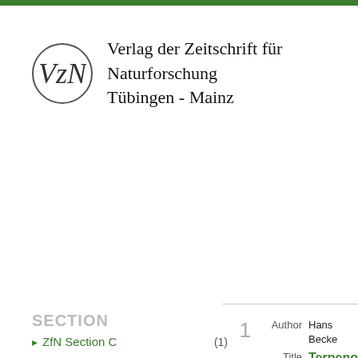[Figure (logo): Circular logo with stylized VzN letters inside]
Verlag der Zeitschrift für Naturforschung Tübingen - Mainz
SECTION
ZfN Section C (1)
PUBLICATION YEAR
1999 (1)
1
Author Hans Becke...
Title Terpeno... helicoph... pbl3hb@...
Abstract The liverwo... conditions. ... monoterpe... hydroperox... skeleton ar...